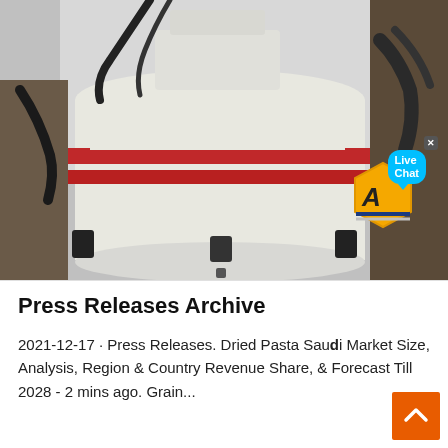[Figure (photo): Close-up photograph of industrial or mechanical equipment — a large white cylindrical machine or boiler with red horizontal stripe/band around it, black fittings/bolts, with workers or hands visible at top and right side. Outdoor industrial setting.]
Press Releases Archive
2021-12-17 · Press Releases. Dried Pasta Saudi Market Size, Analysis, Region & Country Revenue Share, & Forecast Till 2028 - 2 mins ago. Grain...